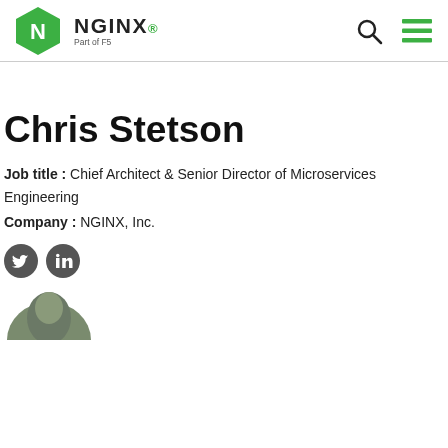NGINX – Part of F5
Chris Stetson
Job title : Chief Architect & Senior Director of Microservices Engineering
Company : NGINX, Inc.
[Figure (photo): Social media icons: Twitter and LinkedIn circles]
[Figure (photo): Partial profile photo of Chris Stetson, showing top of head]